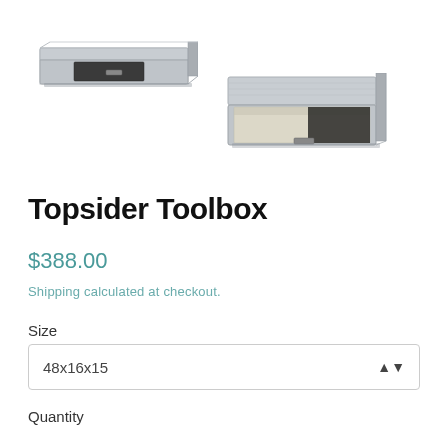[Figure (photo): Two aluminum topsider toolbox product images: one smaller on the upper left showing the box closed at an angle, and one larger on the upper right showing the box open with interior visible]
Topsider Toolbox
$388.00
Shipping calculated at checkout.
Size
48x16x15
Quantity